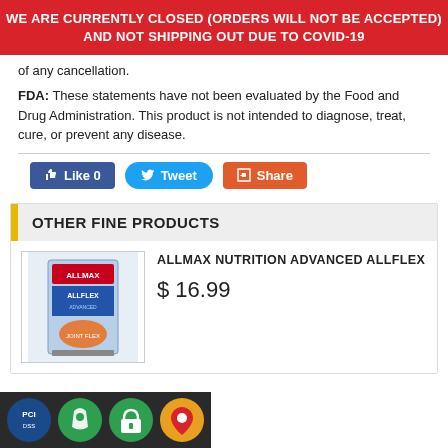WE ARE CURRENTLY CLOSED (ORDERS WILL NOT BE ACCEPTED) AND NOT SHIPPING OUT DUE TO COVID-19
of any cancellation.
FDA: These statements have not been evaluated by the Food and Drug Administration. This product is not intended to diagnose, treat, cure, or prevent any disease.
[Figure (screenshot): Social sharing buttons: Like 0 (Facebook blue), Tweet (Twitter blue), Share (orange/red)]
OTHER FINE PRODUCTS
[Figure (photo): Product image of ALLMAX Nutrition Advanced Allflex supplement box]
ALLMAX NUTRITION ADVANCED ALLFLEX
$ 16.99
Security trust icons: PCI, Shopify, padlock, map pin